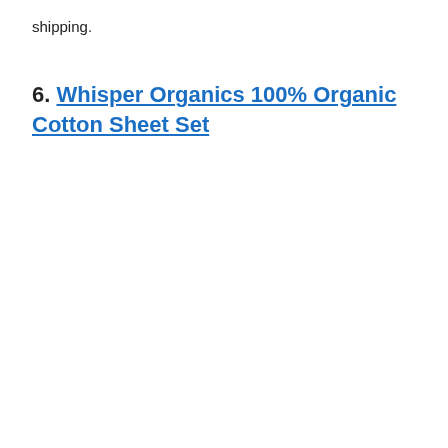shipping.
6.  Whisper Organics 100% Organic Cotton Sheet Set